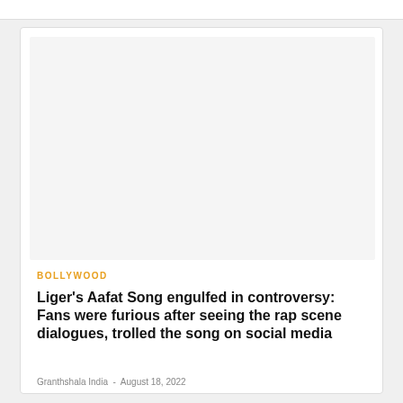[Figure (photo): Large light gray image placeholder area at the top of the article card]
BOLLYWOOD
Liger's Aafat Song engulfed in controversy: Fans were furious after seeing the rap scene dialogues, trolled the song on social media
Granthshala India  -  August 18, 2022